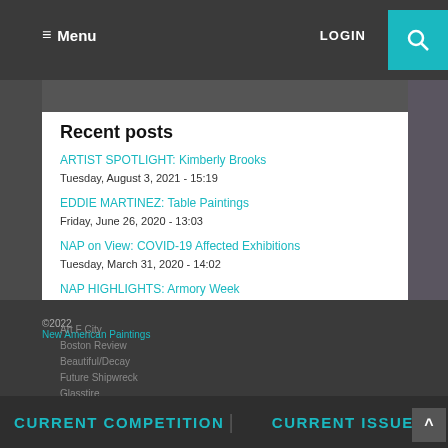≡ Menu | LOGIN
Recent posts
ARTIST SPOTLIGHT: Kimberly Brooks
Tuesday, August 3, 2021 - 15:19
EDDIE MARTINEZ: Table Paintings
Friday, June 26, 2020 - 13:03
NAP on View: COVID-19 Affected Exhibitions
Tuesday, March 31, 2020 - 14:02
NAP HIGHLIGHTS: Armory Week
Tuesday, March 10, 2020 - 14:55
NAP TAKE OVER: Art Basel Miami Beach
Tuesday, December 17, 2019 - 18:09
Friends of NAP
Artcritical
©2022 New American Paintings | CURRENT COMPETITION | CURRENT ISSUE
Art F City
Boston Review
Beautiful/Decay
Future Shipwreck
Glasstire